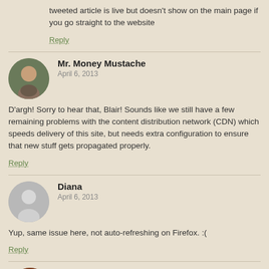tweeted article is live but doesn't show on the main page if you go straight to the website
Reply
Mr. Money Mustache
April 6, 2013
D'argh! Sorry to hear that, Blair! Sounds like we still have a few remaining problems with the content distribution network (CDN) which speeds delivery of this site, but needs extra configuration to ensure that new stuff gets propagated properly.
Reply
Diana
April 6, 2013
Yup, same issue here, not auto-refreshing on Firefox. :(
Reply
Tony@WeOnlyDoThisOnce
April 7, 2013